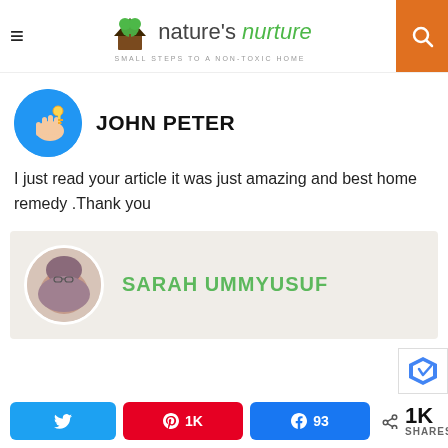nature's nurture – SMALL STEPS TO A NON-TOXIC HOME
JOHN PETER
I just read your article it was just amazing and best home remedy .Thank you
SARAH UMMYUSUF
Share buttons: Twitter, Pinterest 1K, Facebook 93, Share 1K SHARES